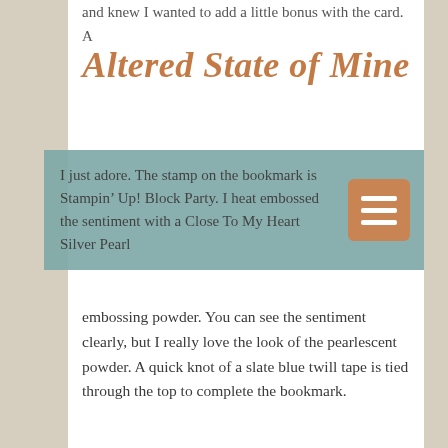and knew I wanted to add a little bonus with the card. A
Altered State of Mine
I just adore. The stamp on the bookmark is Stampin' Up! Block Party. I heat embossed the sentiment with a Close To My Heart Silver Pearl embossing powder. You can see the sentiment clearly, but I really love the look of the pearlescent powder. A quick knot of a slate blue twill tape is tied through the top to complete the bookmark.